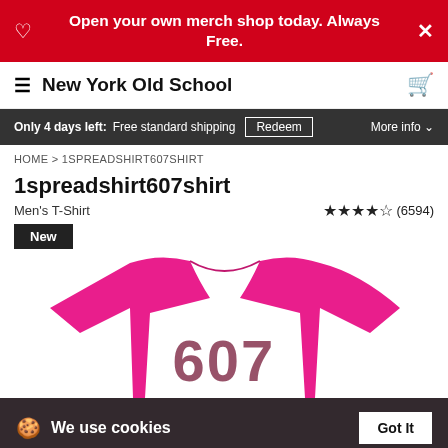Open your own merch shop today. Always Free.
New York Old School
Only 4 days left: Free standard shipping  Redeem  More info
HOME > 1SPREADSHIRT607SHIRT
1spreadshirt607shirt
Men's T-Shirt  ★★★★½ (6594)
New
[Figure (photo): Pink/magenta men's t-shirt with large '607' number printed on the front in dark maroon, shown from above against a white background.]
We use cookies  Got It  Click here to see a list of the categories of personal information we collect and what we use them for ("Notice at Collection").  Privacy Policy  Do Not Sell My Personal Information  By using this website, I agree to the Terms and Conditions